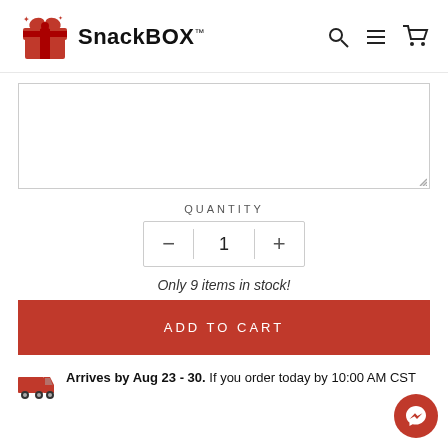SnackBOX™
QUANTITY
1
Only 9 items in stock!
ADD TO CART
Arrives by Aug 23 - 30. If you order today by 10:00 AM CST